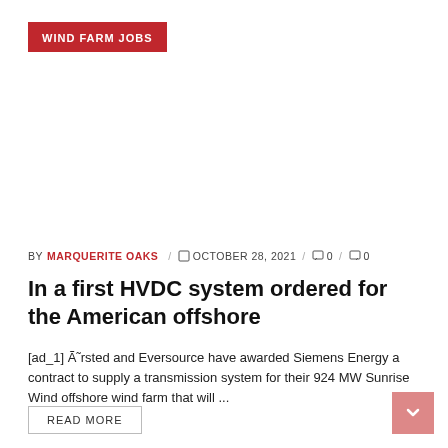WIND FARM JOBS
BY MARQUERITE OAKS / 🕐 OCTOBER 28, 2021 / 🗨 0 / 🗨 0
In a first HVDC system ordered for the American offshore
[ad_1] Ã˜rsted and Eversource have awarded Siemens Energy a contract to supply a transmission system for their 924 MW Sunrise Wind offshore wind farm that will ...